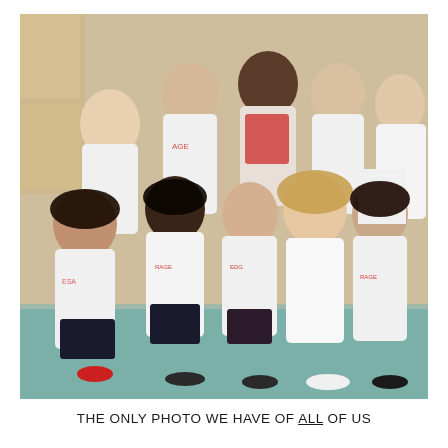[Figure (photo): Group photo of approximately 10 young people, mostly wearing white t-shirts with red graphic print, posing together indoors in a room. Mixed group of men and women, smiling at the camera.]
THE ONLY PHOTO WE HAVE OF ALL OF US